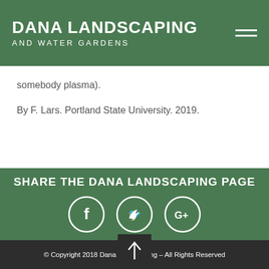DANA LANDSCAPING AND WATER GARDENS
somebody plasma).
By F. Lars. Portland State University. 2019.
SHARE THE DANA LANDSCAPING PAGE
[Figure (other): Social media icons: Facebook, Twitter, Google+]
© Copyright 2018 Dana Landscaping – All Rights Reserved